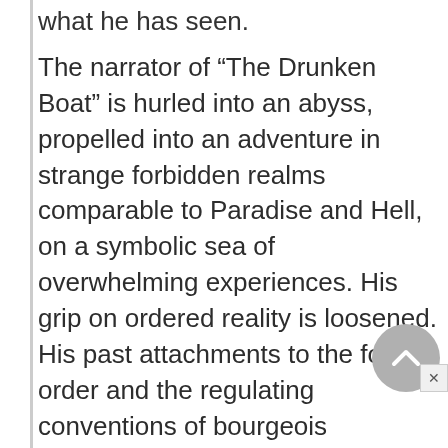what he has seen.
The narrator of “The Drunken Boat” is hurled into an abyss, propelled into an adventure in strange forbidden realms comparable to Paradise and Hell, on a symbolic sea of overwhelming experiences. His grip on ordered reality is loosened. His past attachments to the formal order and the regulating conventions of bourgeois European culture are lost.
His vision takes him through the realm of Paradise before Hell. Paradise is